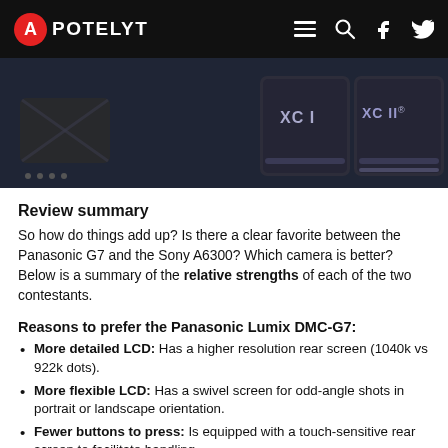APOTELYT
[Figure (photo): Dark background photo showing SD cards labeled XC I and XC II]
Review summary
So how do things add up? Is there a clear favorite between the Panasonic G7 and the Sony A6300? Which camera is better? Below is a summary of the relative strengths of each of the two contestants.
Reasons to prefer the Panasonic Lumix DMC-G7:
More detailed LCD: Has a higher resolution rear screen (1040k vs 922k dots).
More flexible LCD: Has a swivel screen for odd-angle shots in portrait or landscape orientation.
Fewer buttons to press: Is equipped with a touch-sensitive rear screen to facilitate handling.
More selfie-friendly: Has an articulated screen that can